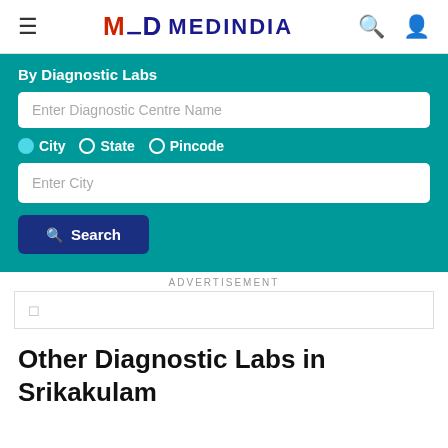MD MEDINDIA
By Diagnostic Labs
Enter Diagnostic Centre Name
City  State  Pincode
Enter City
Search
ADVERTISEMENT
Other Diagnostic Labs in Srikakulam